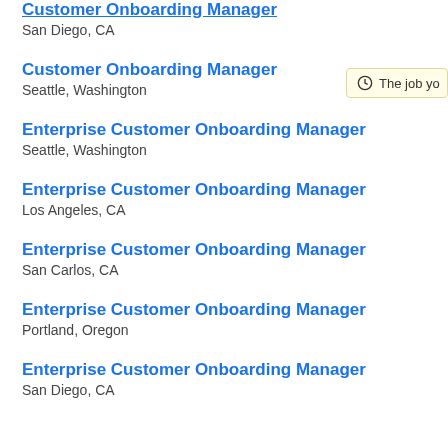Customer Onboarding Manager
San Diego, CA
Customer Onboarding Manager
Seattle, Washington
Enterprise Customer Onboarding Manager
Seattle, Washington
Enterprise Customer Onboarding Manager
Los Angeles, CA
Enterprise Customer Onboarding Manager
San Carlos, CA
Enterprise Customer Onboarding Manager
Portland, Oregon
Enterprise Customer Onboarding Manager
San Diego, CA